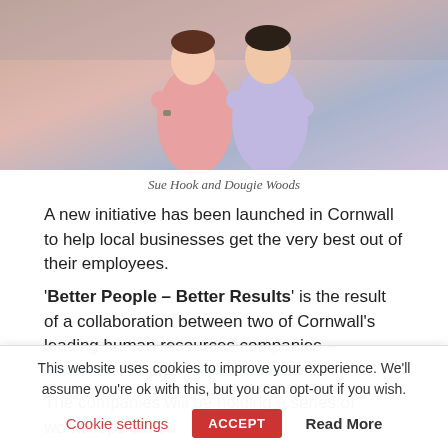[Figure (photo): Two people standing back to back with arms crossed — Sue Hook and Dougie Woods]
Sue Hook and Dougie Woods
A new initiative has been launched in Cornwall to help local businesses get the very best out of their employees.
'Better People – Better Results' is the result of a collaboration between two of Cornwall's leading human resources companies – Sapience HR and Talent Cornwall.
The companies will be holding a series of workshops aimed
This website uses cookies to improve your experience. We'll assume you're ok with this, but you can opt-out if you wish.